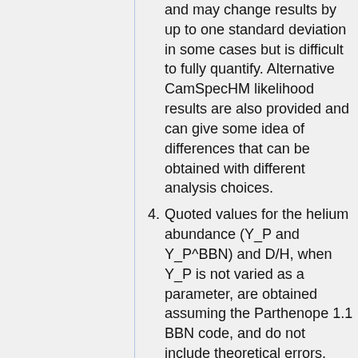and may change results by up to one standard deviation in some cases but is difficult to fully quantify. Alternative CamSpecHM likelihood results are also provided and can give some idea of differences that can be obtained with different analysis choices.
4. Quoted values for the helium abundance (Y_P and Y_P^BBN) and D/H, when Y_P is not varied as a parameter, are obtained assuming the Parthenope 1.1 BBN code, and do not include theoretical errors.
5. Some nuisance parameters have slightly different definitions in the plikHM and CamSpecHM likelihoods, and cannot be directly